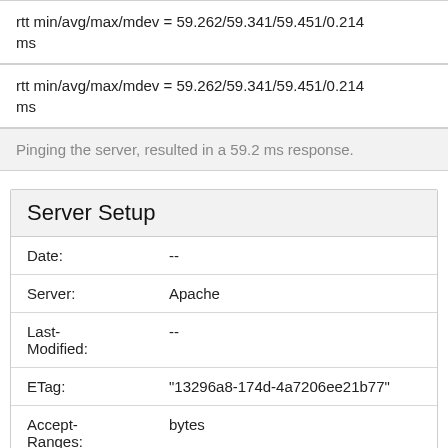rtt min/avg/max/mdev = 59.262/59.341/59.451/0.214 ms
rtt min/avg/max/mdev = 59.262/59.341/59.451/0.214 ms
Pinging the server, resulted in a 59.2 ms response.
Server Setup
| Field | Value |
| --- | --- |
| Date: | -- |
| Server: | Apache |
| Last-Modified: | -- |
| ETag: | "13296a8-174d-4a7206ee21b77" |
| Accept-Ranges: | bytes |